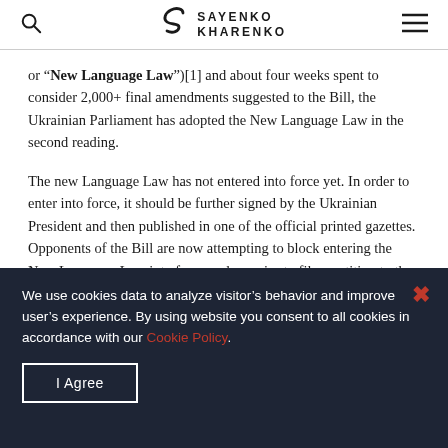Sayenko Kharenko
or "New Language Law")[1] and about four weeks spent to consider 2,000+ final amendments suggested to the Bill, the Ukrainian Parliament has adopted the New Language Law in the second reading.
The new Language Law has not entered into force yet. In order to enter into force, it should be further signed by the Ukrainian President and then published in one of the official printed gazettes. Opponents of the Bill are now attempting to block entering the New Language Law into force and promise to file a petition to the Ukrainian Constitutional
We use cookies data to analyze visitor’s behavior and improve user’s experience. By using website you consent to all cookies in accordance with our Cookie Policy.